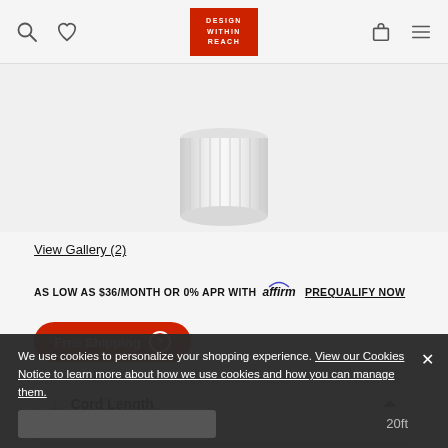Design Within Reach — navigation header with search, wishlist, logo, cart, and menu icons
[Figure (photo): Partial product image — white ribbed cylindrical lamp shade or candle holder base visible against light gray background]
View Gallery (2)
AS LOW AS $36/MONTH OR 0% APR WITH affirm PREQUALIFY NOW
Free Shipping (?)
1  Cord Length
10ft
We use cookies to personalize your shopping experience. View our Cookies Notice to learn more about how we use cookies and how you can manage them.
20ft